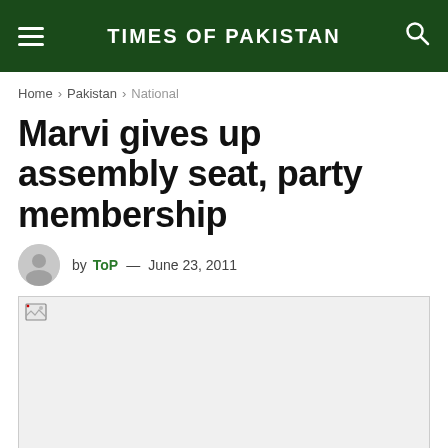TIMES OF PAKISTAN
Home > Pakistan > National
Marvi gives up assembly seat, party membership
by ToP — June 23, 2011
[Figure (photo): Image placeholder — broken/missing image for article about Marvi giving up assembly seat and party membership]